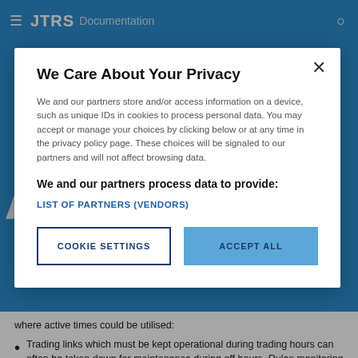JTRS Documentation
We Care About Your Privacy
We and our partners store and/or access information on a device, such as unique IDs in cookies to process personal data. You may accept or manage your choices by clicking below or at any time in the privacy policy page. These choices will be signaled to our partners and will not affect browsing data.
We and our partners process data to provide:
LIST OF PARTNERS (VENDORS)
COOKIE SETTINGS
ACCEPT ALL
where active times could be utilised:
Trading links which must be kept operational during trading hours can often be taken down for maintenance during off hours. Rules monitoring these links can reference an active time describing the trading hours, so that alerts are not triggered if the